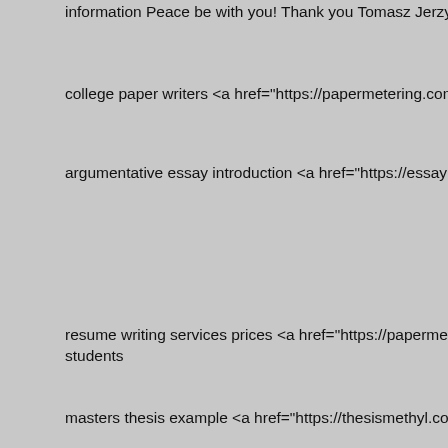information Peace be with you! Thank you Tomasz Jerzy Michalxc5\
college paper writers <a href="https://papermetering.com/ ">online t
argumentative essay introduction <a href="https://essaymetals.com/
resume writing services prices <a href="https://papermethodist.com/ students
masters thesis example <a href="https://thesismethyl.com/ ">college
Add your site to 1000 business directories with one click here-> http
How to <a href=http://77pro.org/44-05-repair-pdf-file.html>repair</a>
<a href=https://www.binance.com/en/activity/referral-entry/CPA?fron to $27,900 in 7 days</a>
<a href=https://www.binance.com/en/activity/referral-entry/CPA?fron a short time with minimal investment. Looking to make $27,000 in 7
essays writers <a href="https://papermeticulously.com/ ">help writing
\xd0\x9f\xd1\x80\xd0\xb5\xd0\xbc\xd0\xbd\xd0\xbe\xd0\xb3\xd0\xbe\xd0\xb1\xd0\xb8\xd0\xb5\xd0\xba